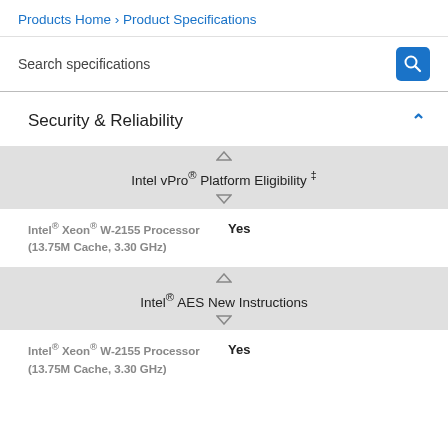Products Home › Product Specifications
Search specifications
Security & Reliability
Intel vPro® Platform Eligibility ‡
Intel® Xeon® W-2155 Processor (13.75M Cache, 3.30 GHz)    Yes
Intel® AES New Instructions
Intel® Xeon® W-2155 Processor (13.75M Cache, 3.30 GHz)    Yes